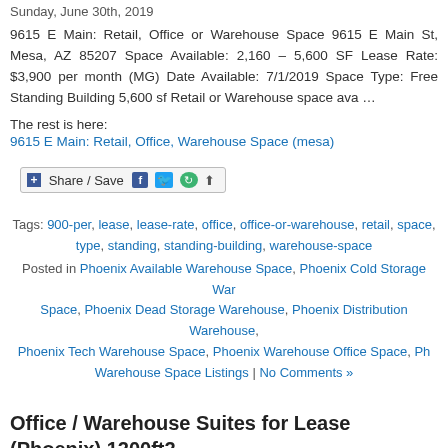Sunday, June 30th, 2019
9615 E Main: Retail, Office or Warehouse Space 9615 E Main St, Mesa, AZ 85207 Space Available: 2,160 – 5,600 SF Lease Rate: $3,900 per month (MG) Date Available: 7/1/2019 Space Type: Free Standing Building 5,600 sf Retail or Warehouse space ava …
The rest is here:
9615 E Main: Retail, Office, Warehouse Space (mesa)
[Figure (other): Share / Save social sharing button with Facebook, Twitter, and other icons]
Tags: 900-per, lease, lease-rate, office, office-or-warehouse, retail, space, type, standing, standing-building, warehouse-space
Posted in Phoenix Available Warehouse Space, Phoenix Cold Storage Warehouse Space, Phoenix Dead Storage Warehouse, Phoenix Distribution Warehouse, Phoenix Tech Warehouse Space, Phoenix Warehouse Office Space, Phoenix Warehouse Space Listings | No Comments »
Office / Warehouse Suites for Lease (Phoenix) 1200ft2
Wednesday, June 26th, 2019
Small office warehouse suite for Lease 1,200 sqft – 3,200 sqft. Recently remodeled. Professional setting. Call Scott at Citywide Commercial Real Estate – *** Key Words: industrial commercial office retail residential warehouse workshop work space d …